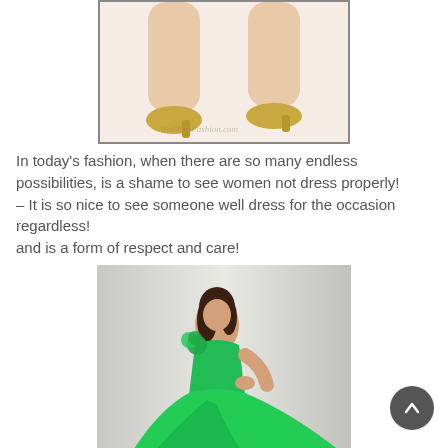[Figure (photo): Photo of two women's legs wearing gold high heel shoes, cropped from knees down, white background]
In today's fashion, when there are so many endless possibilities, is a shame to see women not dress properly! – It is so nice to see someone well dress for the occasion regardless! and is a form of respect and care!
[Figure (photo): Photo of a woman in a flowing green evening gown with floral shoulder detail, posing against a light grey background]